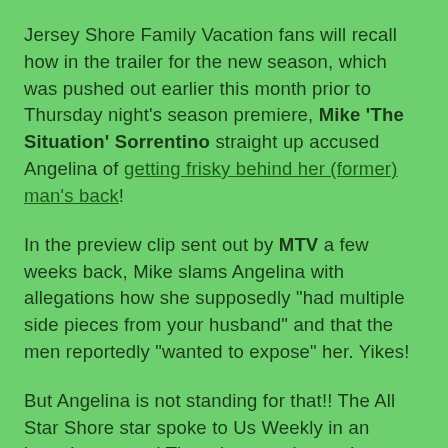Jersey Shore Family Vacation fans will recall how in the trailer for the new season, which was pushed out earlier this month prior to Thursday night's season premiere, Mike 'The Situation' Sorrentino straight up accused Angelina of getting frisky behind her (former) man's back!
In the preview clip sent out by MTV a few weeks back, Mike slams Angelina with allegations how she supposedly “had multiple side pieces from your husband” and that the men reportedly “wanted to expose” her. Yikes!
But Angelina is not standing for that!! The All Star Shore star spoke to Us Weekly in an interview posted Thursday morning and straight-up said she's got the receipts to prove she didn't cheat on her 45-year-old estranged husband: